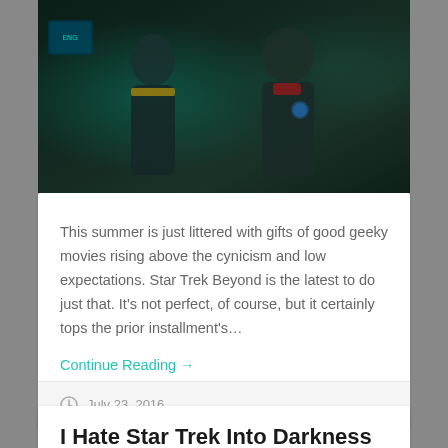[Figure (photo): Movie still from Star Trek Beyond showing two characters in Starfleet uniforms with dark teal lighting]
This summer is just littered with gifts of good geeky movies rising above the cynicism and low expectations. Star Trek Beyond is the latest to do just that. It's not perfect, of course, but it certainly tops the prior installment's…
Continue Reading →
July 23, 2016
I Hate Star Trek Into Darkness